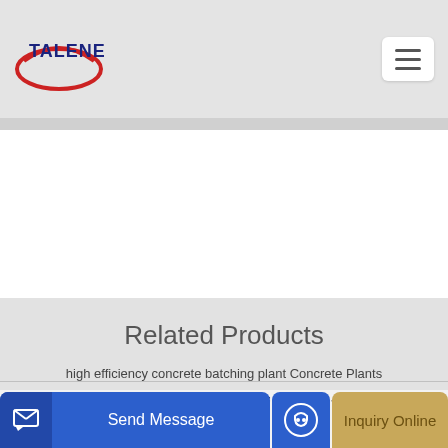TALENET
Related Products
high efficiency concrete batching plant Concrete Plants
Small 4 5m3 Dongfeng Sinotruk self loading truck Concrete mixer truck